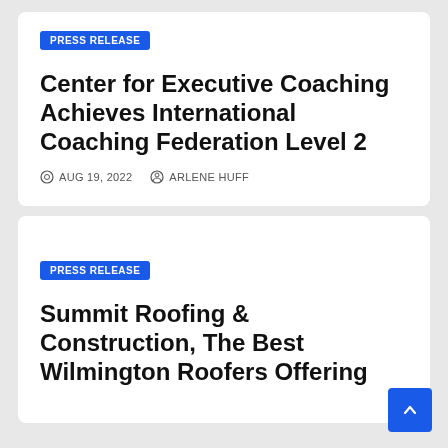PRESS RELEASE
Center for Executive Coaching Achieves International Coaching Federation Level 2
AUG 19, 2022  ARLENE HUFF
PRESS RELEASE
Summit Roofing & Construction, The Best Wilmington Roofers Offering